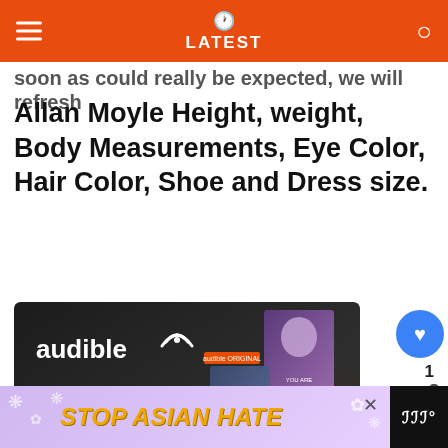LATEST
soon as could really be expected, we will refresh Allan Moyle Height, weight, Body Measurements, Eye Color, Hair Color, Shoe and Dress size.
[Figure (photo): Audible advertisement showing 'Now streaming: podcasts, originals, and more' with 'Start your free trial' button and book cover collage including GURU and DONOR 9623 titles]
[Figure (photo): Stop Asian Hate banner advertisement at bottom of page with flower decorations]
[Figure (photo): Taj Farrant 'What's Next' sidebar thumbnail with text 'Taj Farrant Net Worth 2022 |...']